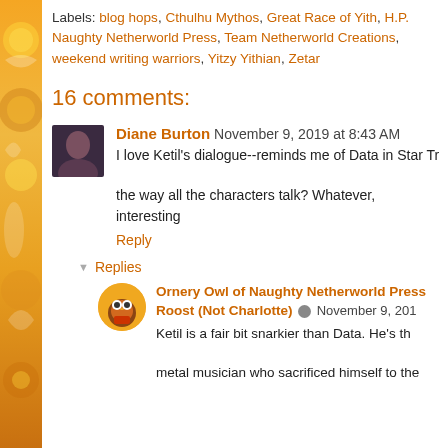Labels: blog hops, Cthulhu Mythos, Great Race of Yith, H.P. Lovecraft, Naughty Netherworld Press, Team Netherworld Creations, weekend writing warriors, Yitzy Yithian, Zetar
16 comments:
Diane Burton  November 9, 2019 at 8:43 AM
I love Ketil's dialogue--reminds me of Data in Star Trek: TNG. Is this the way all the characters talk? Whatever, interesting...
Reply
Replies
Ornery Owl of Naughty Netherworld Press and Netherworld Roost (Not Charlotte)  November 9, 2019...
Ketil is a fair bit snarkier than Data. He's the former metal musician who sacrificed himself to the...